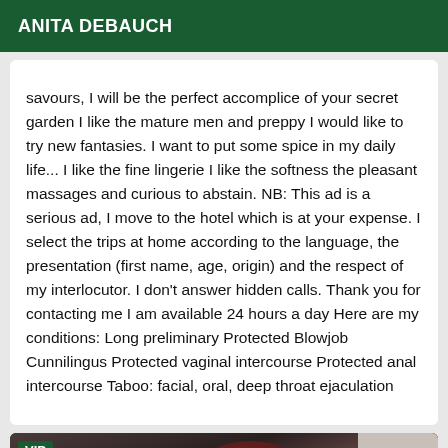ANITA DEBAUCH
savours, I will be the perfect accomplice of your secret garden I like the mature men and preppy I would like to try new fantasies. I want to put some spice in my daily life... I like the fine lingerie I like the softness the pleasant massages and curious to abstain. NB: This ad is a serious ad, I move to the hotel which is at your expense. I select the trips at home according to the language, the presentation (first name, age, origin) and the respect of my interlocutor. I don't answer hidden calls. Thank you for contacting me I am available 24 hours a day Here are my conditions: Long preliminary Protected Blowjob Cunnilingus Protected vaginal intercourse Protected anal intercourse Taboo: facial, oral, deep throat ejaculation
[Figure (photo): Photo with VIP label in top-left corner, showing a dark-haired person, partially visible against a light wall background]